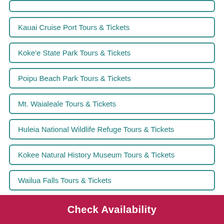Kauai Cruise Port Tours & Tickets
Koke'e State Park Tours & Tickets
Poipu Beach Park Tours & Tickets
Mt. Waialeale Tours & Tickets
Huleia National Wildlife Refuge Tours & Tickets
Kokee Natural History Museum Tours & Tickets
Wailua Falls Tours & Tickets
Check Availability